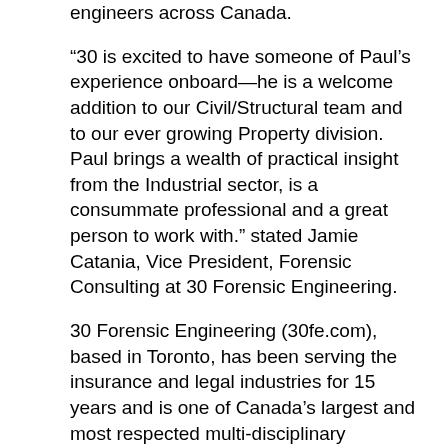engineers across Canada.
“30 is excited to have someone of Paul’s experience onboard—he is a welcome addition to our Civil/Structural team and to our ever growing Property division. Paul brings a wealth of practical insight from the Industrial sector, is a consummate professional and a great person to work with.” stated Jamie Catania, Vice President, Forensic Consulting at 30 Forensic Engineering.
30 Forensic Engineering (30fe.com), based in Toronto, has been serving the insurance and legal industries for 15 years and is one of Canada’s largest and most respected multi-disciplinary forensic firms. Our core team of 60+ professional investigators is enhanced through relationships with some of the top scientists, standard-makers and specialized consultants in North America. We provide world-class engineering and consulting expertise in: Civil/Structural, Geotechnical and Mining, Construction Claims, Personal Injury and Collision Reconstruction, Electrical and Renewable Energy, Environmental Health